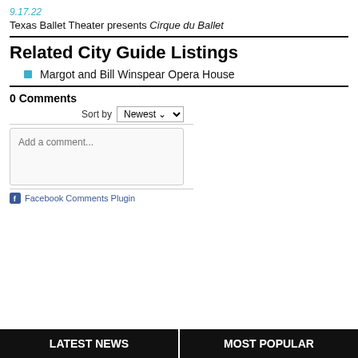9.17.22
Texas Ballet Theater presents Cirque du Ballet
Related City Guide Listings
Margot and Bill Winspear Opera House
0 Comments
Sort by Newest
Add a comment...
Facebook Comments Plugin
LATEST NEWS
MOST POPULAR